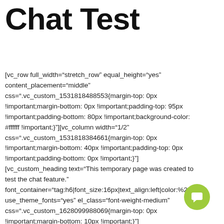Chat Test
[vc_row full_width="stretch_row" equal_height="yes" content_placement="middle" css=".vc_custom_1531818488553{margin-top: 0px !important;margin-bottom: 0px !important;padding-top: 95px !important;padding-bottom: 80px !important;background-color: #ffffff !important;}"][vc_column width="1/2" css=".vc_custom_1531818384661{margin-top: 0px !important;margin-bottom: 40px !important;padding-top: 0px !important;padding-bottom: 0px !important;}"] [vc_custom_heading text="This temporary page was created to test the chat feature." font_container="tag:h6|font_size:16px|text_align:left|color:%2318 use_theme_fonts="yes" el_class="font-weight-medium" css=".vc_custom_1628099988069{margin-top: 0px !important;margin-bottom: 10px !important;}"] [vc_custom_heading text="Click the chat widget (botto… t) to test it!"